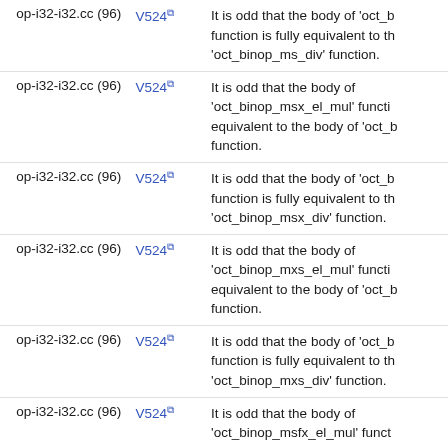| File | Code | Description |
| --- | --- | --- |
| op-i32-i32.cc (96) | V524 | It is odd that the body of 'oct_b function is fully equivalent to th 'oct_binop_ms_div' function. |
| op-i32-i32.cc (96) | V524 | It is odd that the body of 'oct_binop_msx_el_mul' functi equivalent to the body of 'oct_b function. |
| op-i32-i32.cc (96) | V524 | It is odd that the body of 'oct_b function is fully equivalent to th 'oct_binop_msx_div' function. |
| op-i32-i32.cc (96) | V524 | It is odd that the body of 'oct_binop_mxs_el_mul' functi equivalent to the body of 'oct_b function. |
| op-i32-i32.cc (96) | V524 | It is odd that the body of 'oct_b function is fully equivalent to th 'oct_binop_mxs_div' function. |
| op-i32-i32.cc (96) | V524 | It is odd that the body of 'oct_binop_msfx_el_mul' funct equivalent to the body of 'oct_b function. |
| op-i32-i32.cc (96) | V524 | It is odd that the body of 'oct_binop_msfx_el_div' functi equivalent to the body of 'oct_b function. |